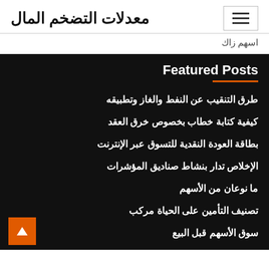معدلات التضخم المال
اسهم زاك
Featured Posts
طرق التنقيب عن النفط والغاز وتطبيقه
كيفية كتابة خطاب بخصوص خرق العقد
بطاقة العودة النقدية للتسوق عبر الإنترنت
الإخلاص تدار بنشاط صناديق المؤشرات
ما نوعان من الأسهم
تصنيف التأمين على الحياة مركب
سوق الأسهم قبل البيع
في المئة من الرابحين يبني الاسهم